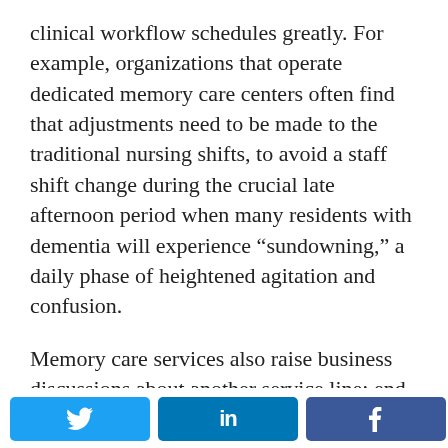clinical workflow schedules greatly. For example, organizations that operate dedicated memory care centers often find that adjustments need to be made to the traditional nursing shifts, to avoid a staff shift change during the crucial late afternoon period when many residents with dementia will experience “sundowning,” a daily phase of heightened agitation and confusion.
Memory care services also raise business discussions about another service line: end-of-life care. Many memory care centers choose to offer care and support only until the need for the skilled nursing level is reached, and then residents are transferred to skilled nursing units. Other organizations are now providing end-of-life care as
[Figure (other): Social sharing buttons: Twitter (bird icon), LinkedIn (in), Facebook (f), and share count showing 0 SHARES]